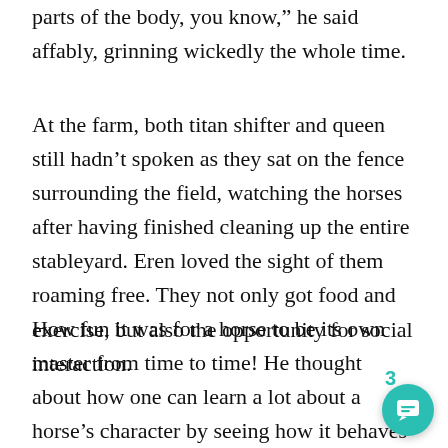parts of the body, you know,” he said affably, grinning wickedly the whole time.
At the farm, both titan shifter and queen still hadn’t spoken as they sat on the fence surrounding the field, watching the horses after having finished cleaning up the entire stableyard. Eren loved the sight of them roaming free. They not only got food and exercise, but also the opportunity for social interaction.
How fun it was for a horse to be its own master from time to time! He thought about how one can learn a lot about a horse’s character by seeing how it behaves when turned out with others. One of them, a gray dun pony, was jumping for joy. He noticed how Historia kept